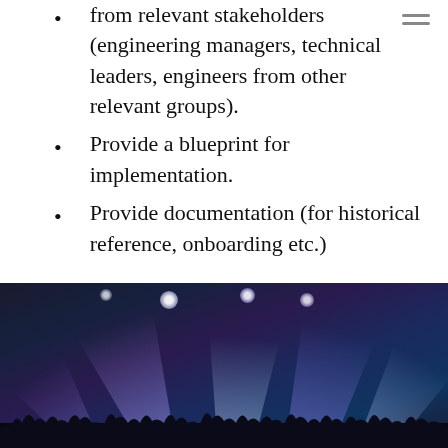from relevant stakeholders (engineering managers, technical leaders, engineers from other relevant groups).
Provide a blueprint for implementation.
Provide documentation (for historical reference, onboarding etc.)
But most importantly: A design document may include a summary of requirements, if appropriate – but it should not read as a wishlist. Someone reading a design document should get a clear idea of what you are planning to do.
[Figure (photo): Concert photo showing stage lights/beams illuminating a crowd at a live music event, with colorful purple and blue light beams and raised hands visible.]